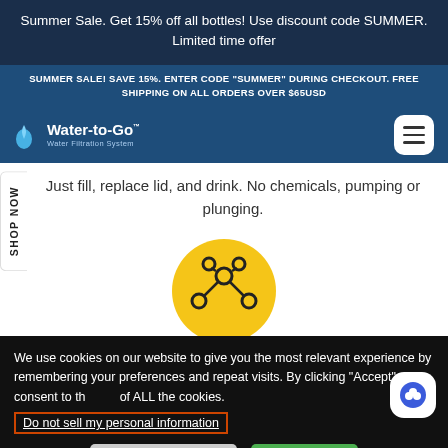Summer Sale. Get 15% off all bottles! Use discount code SUMMER. Limited time offer
SUMMER SALE! SAVE 15%. ENTER CODE "SUMMER" DURING CHECKOUT. FREE SHIPPING ON ALL ORDERS OVER $65USD
[Figure (logo): Water-to-Go Water Filtration System logo with water drop icon]
Just fill, replace lid, and drink. No chemicals, pumping or plunging.
[Figure (illustration): Yellow circle with a molecule/virus icon outline in black]
We use cookies on our website to give you the most relevant experience by remembering your preferences and repeat visits. By clicking “Accept”, you consent to the use of ALL the cookies.
Do not sell my personal information
Cookie Settings
Accept